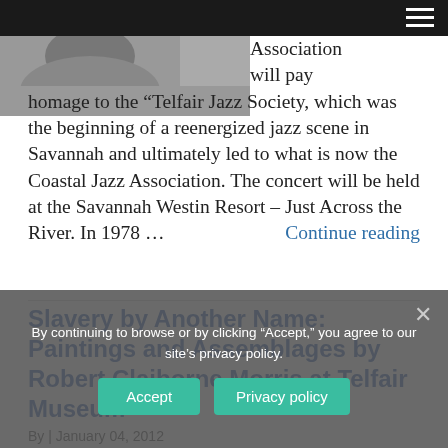[Figure (photo): Partial black and white photo visible at top left]
Association will pay homage to the “Telfair Jazz Society, which was the beginning of a reenergized jazz scene in Savannah and ultimately led to what is now the Coastal Jazz Association. The concert will be held at the Savannah Westin Resort – Just Across the River. In 1978 ... Continue reading
Slavery by Another Name: Paintings and Assemblages by Robert Claiborne Morris at Telfair Museum
By | January 04, 2012
By continuing to browse or by clicking “Accept,” you agree to our site’s privacy policy.